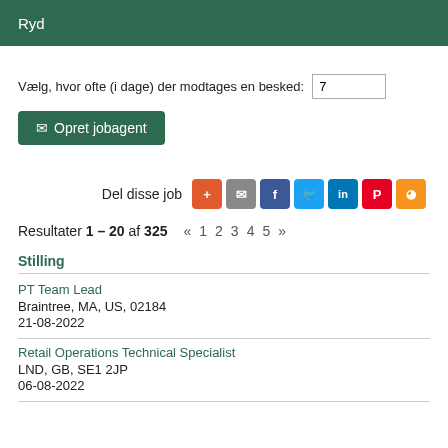Ryd
Vælg, hvor ofte (i dage) der modtages en besked: 7
✉ Opret jobagent
Del disse job
Resultater 1 – 20 af 325   «   1   2   3   4   5   »
Stilling
PT Team Lead
Braintree, MA, US, 02184
21-08-2022
Retail Operations Technical Specialist
LND, GB, SE1 2JP
06-08-2022